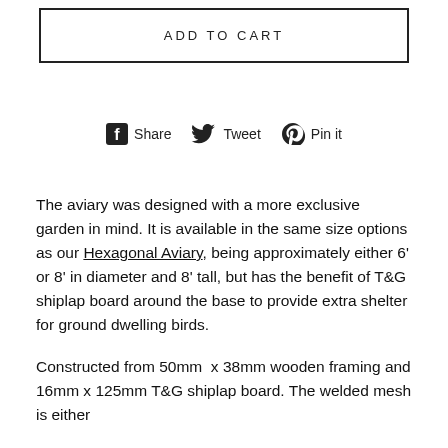ADD TO CART
[Figure (other): Social sharing bar with Facebook Share, Twitter Tweet, and Pinterest Pin it icons and labels]
The aviary was designed with a more exclusive garden in mind. It is available in the same size options as our Hexagonal Aviary, being approximately either 6' or 8' in diameter and 8' tall, but has the benefit of T&G shiplap board around the base to provide extra shelter for ground dwelling birds.
Constructed from 50mm  x 38mm wooden framing and 16mm x 125mm T&G shiplap board. The welded mesh is either